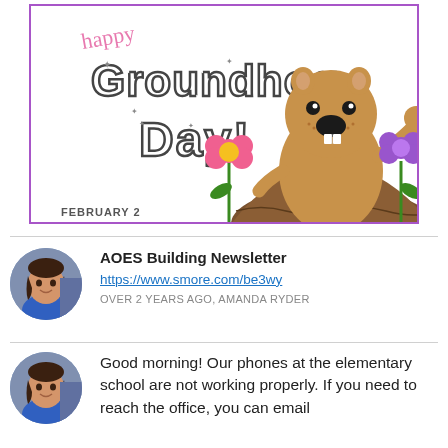[Figure (illustration): Happy Groundhog Day banner with cartoon groundhog, flowers, and text reading 'happy Groundhog Day!' and 'FEBRUARY 2', bordered in purple]
AOES Building Newsletter
https://www.smore.com/be3wy
OVER 2 YEARS AGO, AMANDA RYDER
Good morning! Our phones at the elementary school are not working properly. If you need to reach the office, you can email